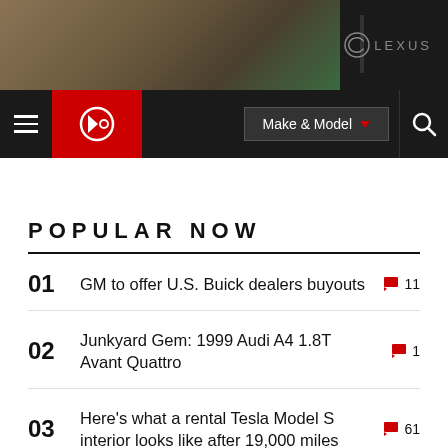[Figure (photo): Lexus advertisement banner with landscape background image and Lexus logo]
Make & Model
POPULAR NOW
01  GM to offer U.S. Buick dealers buyouts  🚩 11
02  Junkyard Gem: 1999 Audi A4 1.8T Avant Quattro  🚩 1
03  Here's what a rental Tesla Model S interior looks like after 19,000 miles  🚩 61